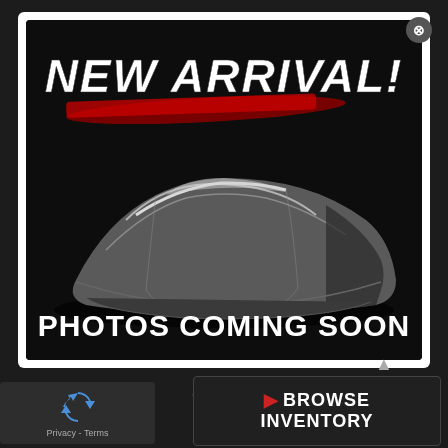[Figure (photo): Modal popup showing a car covered with a silver/black cover with text NEW ARRIVAL! and PHOTOS COMING SOON on a dark background. A close (X) button appears in the top right corner.]
Sun: Closed
[Figure (logo): NIADA INC circular badge logo]
[Figure (other): reCAPTCHA widget showing circular arrows icon with Privacy - Terms text]
BROWSE INVENTORY